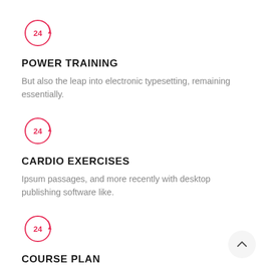[Figure (illustration): Pink circular 24-hour icon with circular arrow]
POWER TRAINING
But also the leap into electronic typesetting, remaining essentially.
[Figure (illustration): Pink circular 24-hour icon with circular arrow]
CARDIO EXERCISES
Ipsum passages, and more recently with desktop publishing software like.
[Figure (illustration): Pink circular 24-hour icon with circular arrow]
COURSE PLAN
[Figure (illustration): Back to top button with upward chevron arrow]